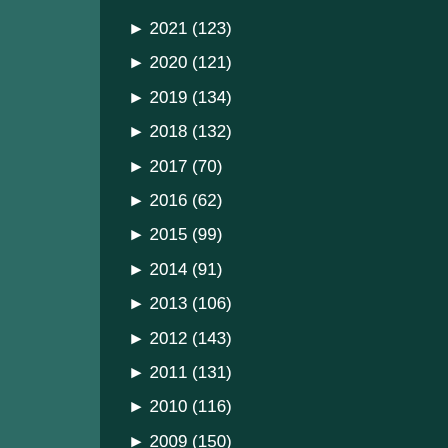► 2021 (123)
► 2020 (121)
► 2019 (134)
► 2018 (132)
► 2017 (70)
► 2016 (62)
► 2015 (99)
► 2014 (91)
► 2013 (106)
► 2012 (143)
► 2011 (131)
► 2010 (116)
► 2009 (150)
► 2008 (126)